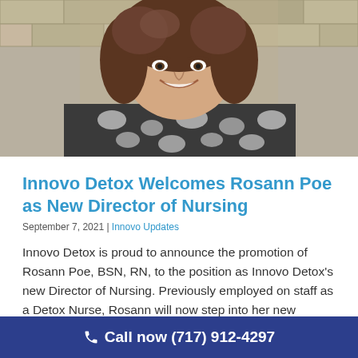[Figure (photo): Woman with curly brown hair smiling, wearing a black and white patterned top, standing in front of a stone wall background]
Innovo Detox Welcomes Rosann Poe as New Director of Nursing
September 7, 2021 | Innovo Updates
Innovo Detox is proud to announce the promotion of Rosann Poe, BSN, RN, to the position as Innovo Detox's new Director of Nursing. Previously employed on staff as a Detox Nurse, Rosann will now step into her new position to
Call now (717) 912-4297